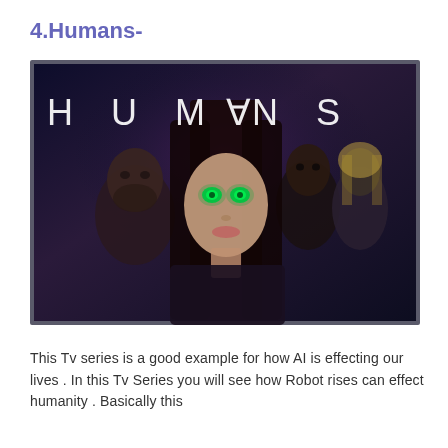4.Humans-
[Figure (photo): Promotional poster for the TV series 'Humans', showing four characters with the show title 'HUMANS' in large white letters at the top against a dark blue/purple background. A woman with green glowing eyes is centered in the foreground with long dark hair; a bearded man is on the left; a dark-skinned man and a blonde woman are on the right.]
This Tv series is a good example for how AI is effecting our lives . In this Tv Series you will see how Robot rises can effect humanity . Basically this